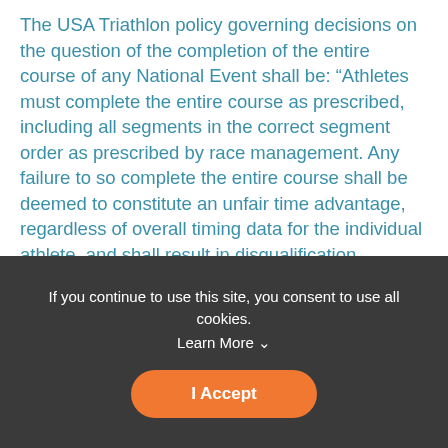The USA Triathlon policy governing decisions on the question of the completion of the entire course of any National Event shall be: “Athletes must complete the entire course as prescribed, including all segments in the correct segment order as prescribed by race management. Any failure to so complete the entire course shall be deemed to constitute an unfair time advantage, regardless of overall timing data for the individual athlete, and shall result in disqualification. Athletes who depart from the course must reenter at the point of departure before continuing.”
Dirt in Your Shoe Du is a race that is packed with
If you continue to use this site, you consent to use all cookies. Learn More ^
I Accept